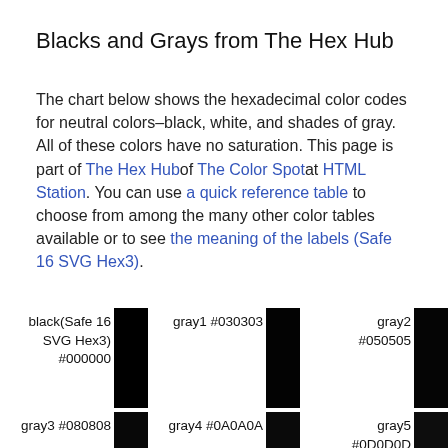Blacks and Grays from The Hex Hub
The chart below shows the hexadecimal color codes for neutral colors–black, white, and shades of gray. All of these colors have no saturation. This page is part of The Hex Hub of The Color Spot at HTML Station. You can use a quick reference table to choose from among the many other color tables available or to see the meaning of the labels (Safe 16 SVG Hex3).
| black(Safe 16 SVG Hex3) #000000 | gray1 #030303 | gray2 #050505 |
| gray3 #080808 | gray4 #0A0A0A | gray5 #0D0D0D |
| gray6 #0F0F0F | gray7 #121212 | gray8 |